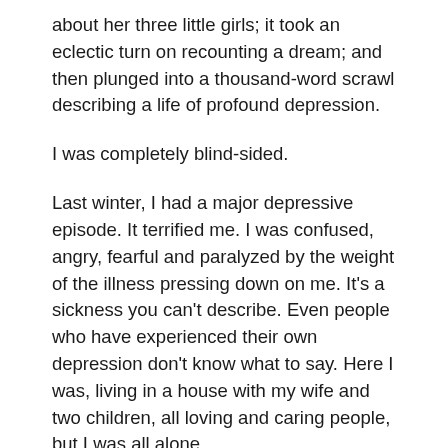about her three little girls; it took an eclectic turn on recounting a dream; and then plunged into a thousand-word scrawl describing a life of profound depression.
I was completely blind-sided.
Last winter, I had a major depressive episode. It terrified me. I was confused, angry, fearful and paralyzed by the weight of the illness pressing down on me. It’s a sickness you can't describe. Even people who have experienced their own depression don’t know what to say. Here I was, living in a house with my wife and two children, all loving and caring people, but I was all alone.
After reading her post twice, and mulling it over with an uneasy feeling in my stomach, I decided to send her a message through her contact form. “You have